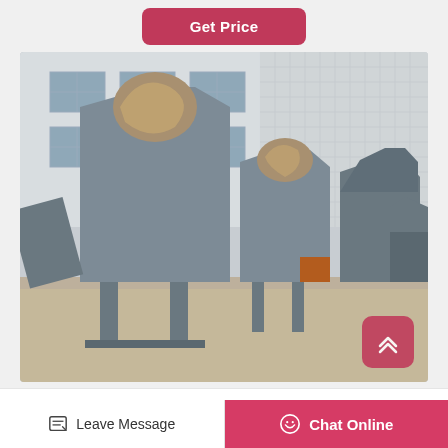Get Price
[Figure (photo): Industrial centrifugal fans/blowers painted grey, staged outdoors in a factory yard in front of a multi-story industrial building. Several large fan units with impellers wrapped in protective material are visible, along with supporting steel structures.]
KULDEVI ENGINEERING
Leave Message | Chat Online